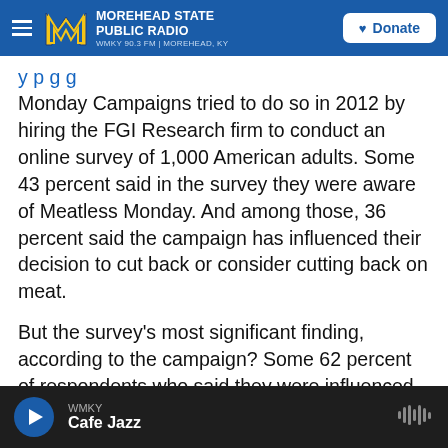MOREHEAD STATE PUBLIC RADIO — WMKY 90.3 FM | MOREHEAD, KY — Donate
Monday Campaigns tried to do so in 2012 by hiring the FGI Research firm to conduct an online survey of 1,000 American adults. Some 43 percent said in the survey they were aware of Meatless Monday. And among those, 36 percent said the campaign has influenced their decision to cut back or consider cutting back on meat.
But the survey's most significant finding, according to the campaign? Some 62 percent of respondents who said they were influenced by Meatless Monday report that they've tried to incorporate it into their weekly routine
WMKY — Cafe Jazz